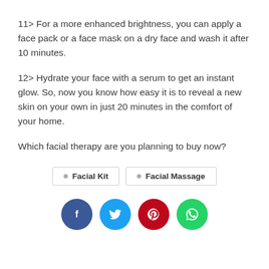11> For a more enhanced brightness, you can apply a face pack or a face mask on a dry face and wash it after 10 minutes.
12> Hydrate your face with a serum to get an instant glow. So, now you know how easy it is to reveal a new skin on your own in just 20 minutes in the comfort of your home.
Which facial therapy are you planning to buy now?
Facial Kit   Facial Massage
[Figure (infographic): Social share buttons: Facebook (dark blue circle with f), Twitter (cyan circle with bird), Pinterest (dark red circle with P), WhatsApp (green circle with phone)]